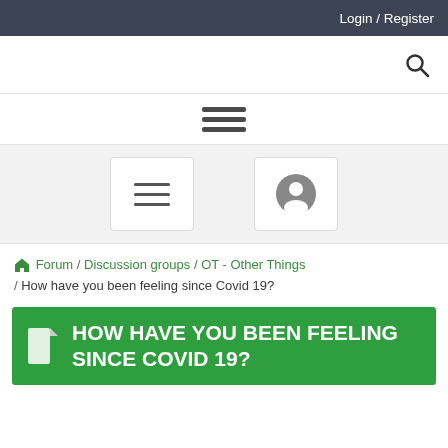Login / Register
[Figure (screenshot): Search icon (magnifying glass) in top navigation bar]
[Figure (screenshot): Hamburger menu icon with three horizontal bars]
[Figure (screenshot): Two navigation buttons: a hamburger menu button and a profile/account button]
Forum / Discussion groups / OT - Other Things / How have you been feeling since Covid 19?
HOW HAVE YOU BEEN FEELING SINCE COVID 19?